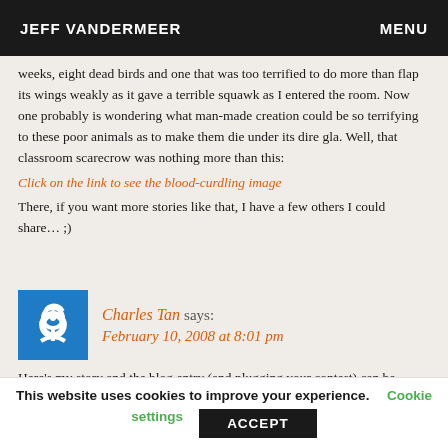JEFF VANDERMEER    MENU
weeks, eight dead birds and one that was too terrified to do more than flap its wings weakly as it gave a terrible squawk as I entered the room. Now one probably is wondering what man-made creation could be so terrifying to these poor animals as to make them die under its dire gla. Well, that classroom scarecrow was nothing more than this:
Click on the link to see the blood-curdling image
There, if you want more stories like that, I have a few others I could share… ;)
Charles Tan says:
February 10, 2008 at 8:01 pm
Here's my story and the blog entry (and plugging your contest) can be found at http://charles-tan.blogspot.com/2008/02/my-new-weird-
This website uses cookies to improve your experience.   Cookie settings   ACCEPT